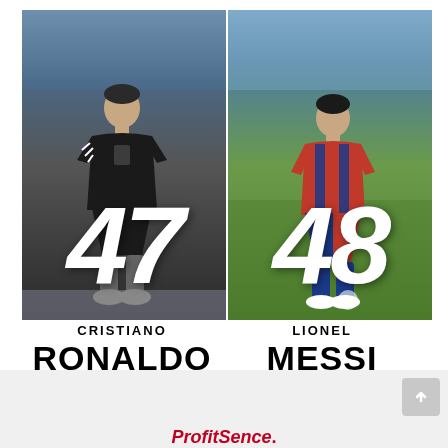[Figure (infographic): Side-by-side comparison of Cristiano Ronaldo (left, in black Juventus kit, with number 47) and Lionel Messi (right, in blue/red Barcelona kit, with number 48). Both players shown full-body against photo backgrounds.]
CRISTIANO
RONALDO
LIONEL
MESSI
Close
ProfitSence.